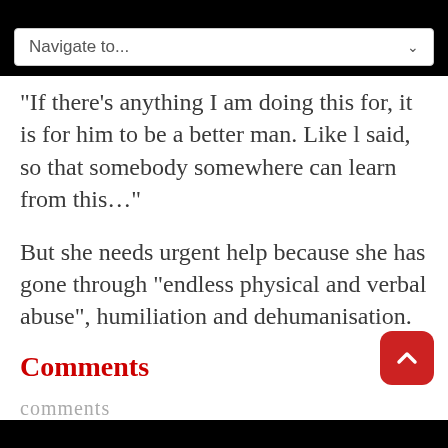[Figure (screenshot): Navigate to... dropdown menu bar at top of page]
“If there’s anything I am doing this for, it is for him to be a better man. Like l said, so that somebody somewhere can learn from this…”
But she needs urgent help because she has gone through “endless physical and verbal abuse”, humiliation and dehumanisation.
Comments
comments